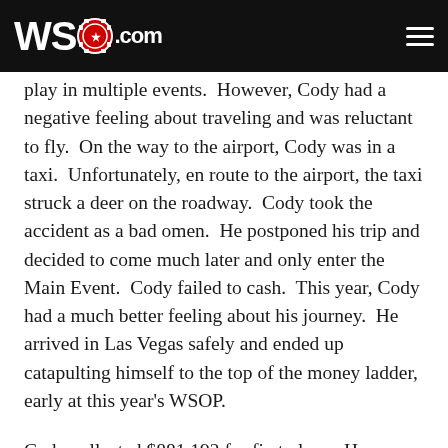WSOP.COM
play in multiple events.  However, Cody had a negative feeling about traveling and was reluctant to fly.  On the way to the airport, Cody was in a taxi.  Unfortunately, en route to the airport, the taxi struck a deer on the roadway.  Cody took the accident as a bad omen.  He postponed his trip and decided to come much later and only enter the Main Event.  Cody failed to cash.  This year, Cody had a much better feeling about his journey.  He arrived in Las Vegas safely and ended up catapulting himself to the top of the money ladder, early at this year's WSOP.
Cody collected $881,192 for first place.  He was also awarded his first WSOP gold bracelet.
According to official records, Cody now has 1 win, 1 final table appearance, and 1 in-the-money finish at the WSOP.
Cody currently has $881,192 in WSOP winnings.  Cody's